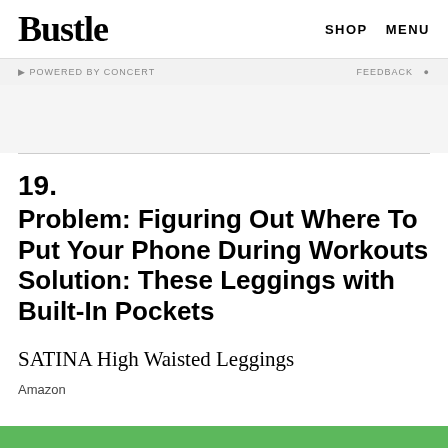Bustle  SHOP  MENU
POWERED BY CONCERT  FEEDBACK
19.
Problem: Figuring Out Where To Put Your Phone During Workouts Solution: These Leggings with Built-In Pockets
SATINA High Waisted Leggings
Amazon